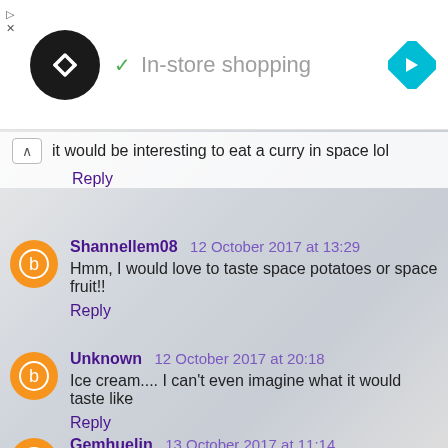[Figure (screenshot): Ad banner with black circular logo with arrows, checkmark, 'In-store shopping' text, and blue diamond navigation icon. Small close/skip controls on left.]
it would be interesting to eat a curry in space lol
Reply
Shannellem08  12 October 2017 at 13:29
Hmm, I would love to taste space potatoes or space fruit!!
Reply
Unknown  12 October 2017 at 20:18
Ice cream.... I can't even imagine what it would taste like
Reply
Gemhuelin  13 October 2017 at 11:14